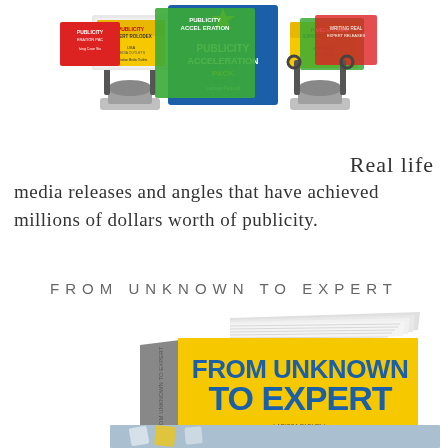[Figure (photo): Product bundle image showing rolodex card holders with colorful labeled cards: Publicity Acceleration Pack (blue), and various Australian/USA media outlets and expert rolodex sets in yellow, green, red colors]
Real life media releases and angles that have achieved millions of dollars worth of publicity.
FROM UNKNOWN TO EXPERT
[Figure (photo): Book cover image of 'From Unknown To Expert' with yellow cover and dark blue text, shown as a 3D open book, with another book below featuring puzzle piece imagery]